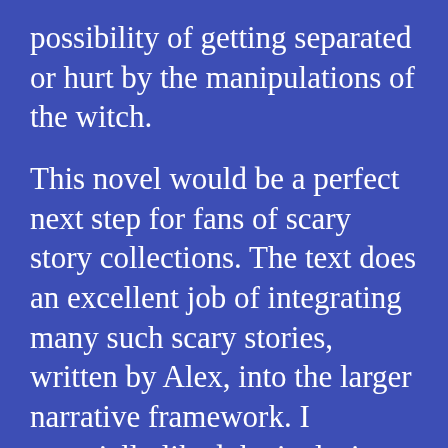possibility of getting separated or hurt by the manipulations of the witch.

This novel would be a perfect next step for fans of scary story collections. The text does an excellent job of integrating many such scary stories, written by Alex, into the larger narrative framework. I especially liked the inclusion of fully-readable pages from books in the witch’s library, complete with secret handwritten notes in the margins. It is a low-key metafictional touch that isn’t too